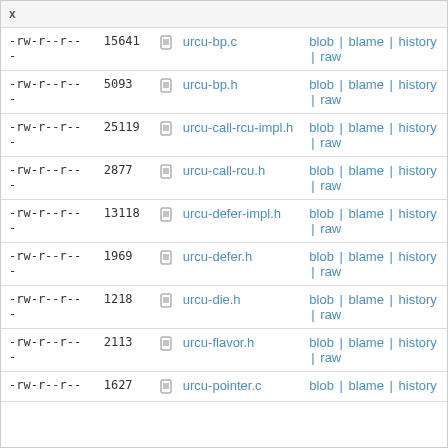| permissions | size | filename | actions |
| --- | --- | --- | --- |
| -rw-r--r-- | 15641 | urcu-bp.c | blob | blame | history | raw |
| -rw-r--r-- | 5093 | urcu-bp.h | blob | blame | history | raw |
| -rw-r--r-- | 25119 | urcu-call-rcu-impl.h | blob | blame | history | raw |
| -rw-r--r-- | 2877 | urcu-call-rcu.h | blob | blame | history | raw |
| -rw-r--r-- | 13118 | urcu-defer-impl.h | blob | blame | history | raw |
| -rw-r--r-- | 1969 | urcu-defer.h | blob | blame | history | raw |
| -rw-r--r-- | 1218 | urcu-die.h | blob | blame | history | raw |
| -rw-r--r-- | 2113 | urcu-flavor.h | blob | blame | history | raw |
| -rw-r--r-- | 1627 | urcu-pointer.c | blob | blame | history |